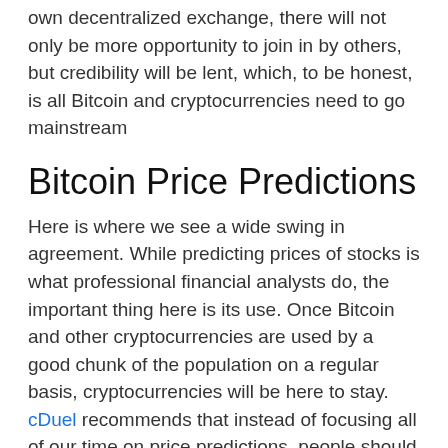own decentralized exchange, there will not only be more opportunity to join in by others, but credibility will be lent, which, to be honest, is all Bitcoin and cryptocurrencies need to go mainstream
Bitcoin Price Predictions
Here is where we see a wide swing in agreement. While predicting prices of stocks is what professional financial analysts do, the important thing here is its use. Once Bitcoin and other cryptocurrencies are used by a good chunk of the population on a regular basis, cryptocurrencies will be here to stay. cDuel recommends that instead of focusing all of our time on price predictions, people should be focusing their time on education, developing uses of cryptocurrencies, and making the infrastructure to use cryptocurrencies easy to use for the average consumer. When you can go online and purchase a pizza using cryptocurrency just as easily as you can